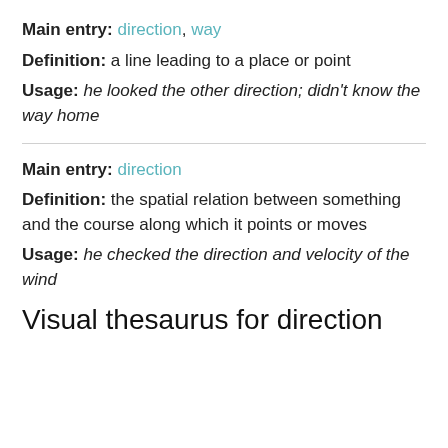Main entry: direction, way
Definition: a line leading to a place or point
Usage: he looked the other direction; didn't know the way home
Main entry: direction
Definition: the spatial relation between something and the course along which it points or moves
Usage: he checked the direction and velocity of the wind
Visual thesaurus for direction